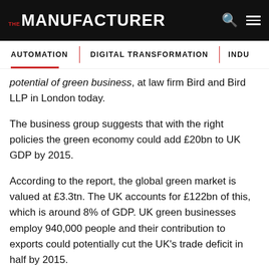THE MANUFACTURER
AUTOMATION | DIGITAL TRANSFORMATION | INDU…
potential of green business, at law firm Bird and Bird LLP in London today.
The business group suggests that with the right policies the green economy could add £20bn to UK GDP by 2015.
According to the report, the global green market is valued at £3.3tn. The UK accounts for £122bn of this, which is around 8% of GDP. UK green businesses employ 940,000 people and their contribution to exports could potentially cut the UK's trade deficit in half by 2015.
Mr Cridland said that the green economy goes hand in